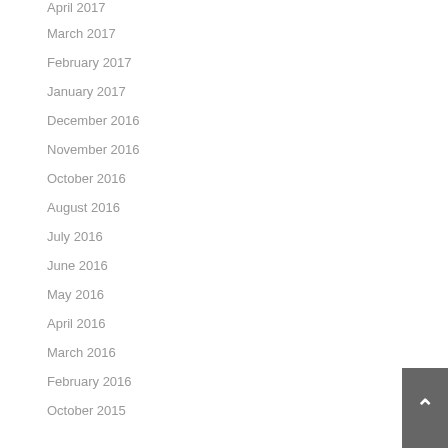April 2017
March 2017
February 2017
January 2017
December 2016
November 2016
October 2016
August 2016
July 2016
June 2016
May 2016
April 2016
March 2016
February 2016
October 2015